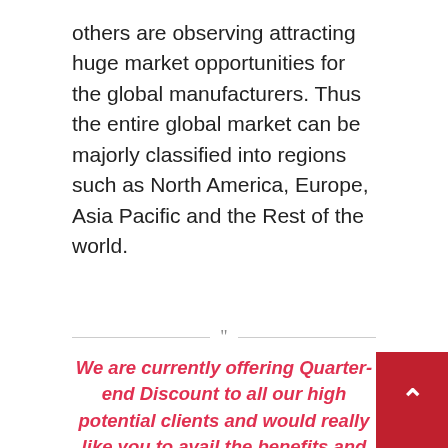others are observing attracting huge market opportunities for the global manufacturers. Thus the entire global market can be majorly classified into regions such as North America, Europe, Asia Pacific and the Rest of the world.
We are currently offering Quarter-end Discount to all our high potential clients and would really like you to avail the benefits and leverage your analysis based on our report.
Avail 30-50% Discount on various license type on immediate purchase (Use Corporate email ID to G Higher Priority) @